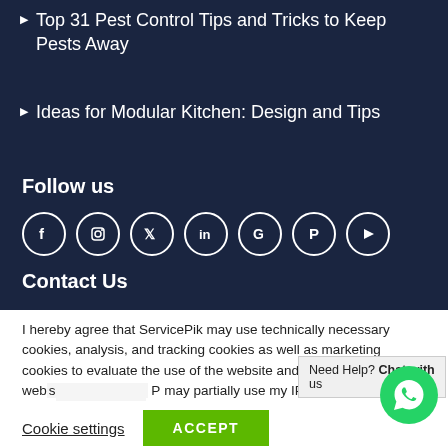Top 31 Pest Control Tips and Tricks to Keep Pests Away
Ideas for Modular Kitchen: Design and Tips
Follow us
[Figure (infographic): Row of 7 circular social media icons: Facebook, Instagram, Twitter, LinkedIn, Google, Pinterest, YouTube]
Contact Us
I hereby agree that ServicePik may use technically necessary cookies, analysis, and tracking cookies as well as marketing cookies to evaluate the use of the website and optimize the website. P... may partially use my IP addre...
Need Help? Chat with us
Cookie settings   ACCEPT